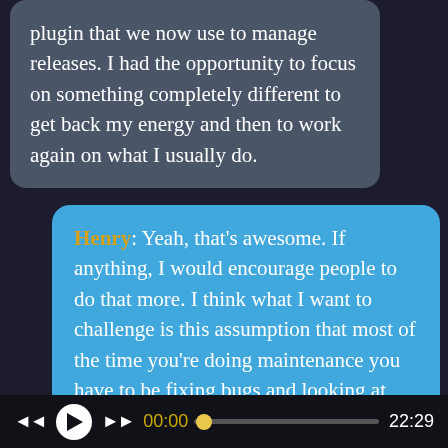plugin that we now use to manage releases. I had the opportunity to focus on something completely different to get back my energy and then to work again on what I usually do.
Henry: Yeah, that's awesome. If anything, I would encourage people to do that more. I think what I want to challenge is this assumption that most of the time you're doing maintenance you have to be fixing bugs and looking at issues when.. Not that we shouldn't ever look at issues.
00:00  22:29